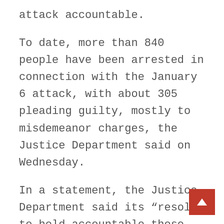attack accountable.
To date, more than 840 people have been arrested in connection with the January 6 attack, with about 305 pleading guilty, mostly to misdemeanor charges, the Justice Department said on Wednesday.
In a statement, the Justice Department said its “resolve to hold accountable those who committed crimes on Jan. 6, 2021, has not, and will not, wane.”